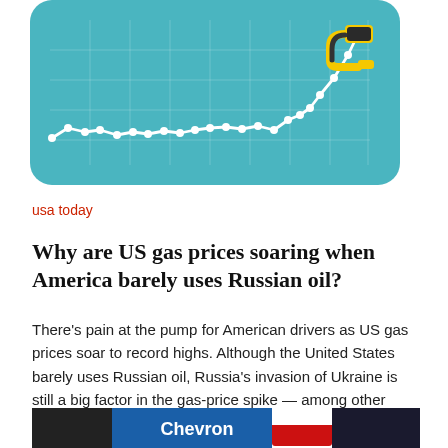[Figure (infographic): Illustration of a rising line chart on a teal/blue rounded-rectangle background, with a yellow gas pump nozzle at the top right of the rising line, suggesting soaring gas prices.]
usa today
Why are US gas prices soaring when America barely uses Russian oil?
There’s pain at the pump for American drivers as US gas prices soar to record highs. Although the United States barely uses Russian oil, Russia’s invasion of Ukraine is still a big factor in the gas-price spike — among other reasons. Most of Russia’s oil goes to Europe and Asia. But the key here is […]
[Figure (photo): Partial photo at the bottom showing gas station brand signs including Chevron.]